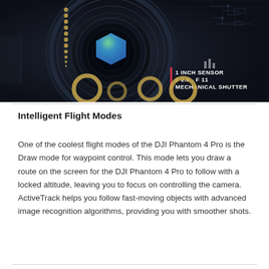[Figure (photo): Dark-themed camera lens infographic showing a DJI Phantom 4 Pro camera with concentric rings, a colorful pentagonal lens gem, golden ring details, a column of yellow dots, and a red-accented spec overlay reading '1 INCH SENSOR / F 2.8 - F 11 / MECHANICAL SHUTTER']
Intelligent Flight Modes
One of the coolest flight modes of the DJI Phantom 4 Pro is the Draw mode for waypoint control. This mode lets you draw a route on the screen for the DJI Phantom 4 Pro to follow with a locked altitude, leaving you to focus on controlling the camera. ActiveTrack helps you follow fast-moving objects with advanced image recognition algorithms, providing you with smoother shots.